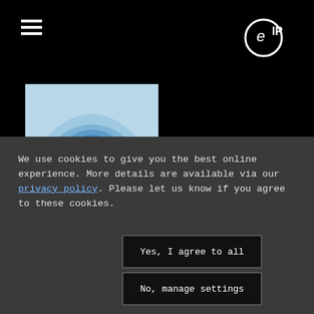[Figure (logo): eIP logo — letter e inside a circle with 'IP' text to the right, white on black]
[Figure (illustration): Abstract blue wave/arc design on light blue background]
We use cookies to give you the best online experience. More details are available via our privacy policy. Please let us know if you agree to these cookies.
Yes, I agree to all
No, manage settings